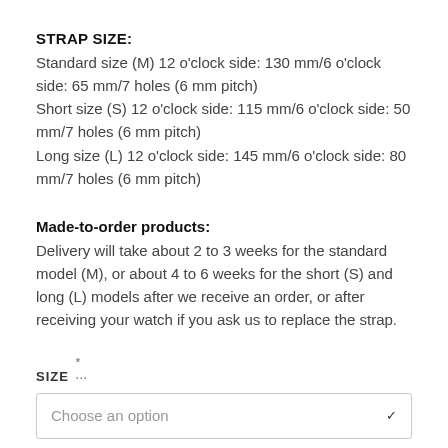STRAP SIZE:
Standard size (M) 12 o'clock side: 130 mm/6 o'clock side: 65 mm/7 holes (6 mm pitch)
Short size (S) 12 o'clock side: 115 mm/6 o'clock side: 50 mm/7 holes (6 mm pitch)
Long size (L) 12 o'clock side: 145 mm/6 o'clock side: 80 mm/7 holes (6 mm pitch)
Made-to-order products:
Delivery will take about 2 to 3 weeks for the standard model (M), or about 4 to 6 weeks for the short (S) and long (L) models after we receive an order, or after receiving your watch if you ask us to replace the strap.
SIZE
Choose an option